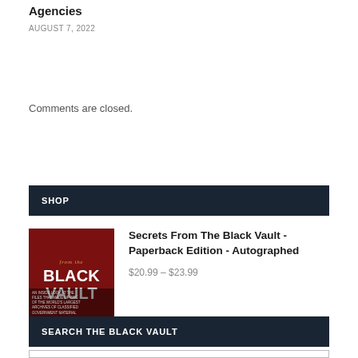Agencies
AUGUST 7, 2022
Comments are closed.
SHOP
[Figure (photo): Book cover of 'Secrets From The Black Vault' with dark red background, white bold text, and document images at the bottom]
Secrets From The Black Vault - Paperback Edition - Autographed
$20.99 – $23.99
SEARCH THE BLACK VAULT